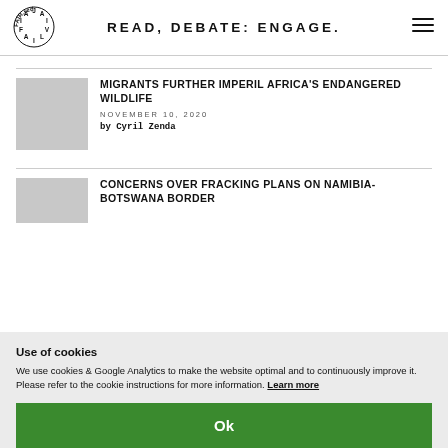[Figure (logo): FAIR.red circular logo with letters arranged in a circle]
READ, DEBATE: ENGAGE.
MIGRANTS FURTHER IMPERIL AFRICA'S ENDANGERED WILDLIFE
NOVEMBER 10, 2020
by Cyril Zenda
CONCERNS OVER FRACKING PLANS ON NAMIBIA-BOTSWANA BORDER
Use of cookies
We use cookies & Google Analytics to make the website optimal and to continuously improve it. Please refer to the cookie instructions for more information. Learn more
Ok